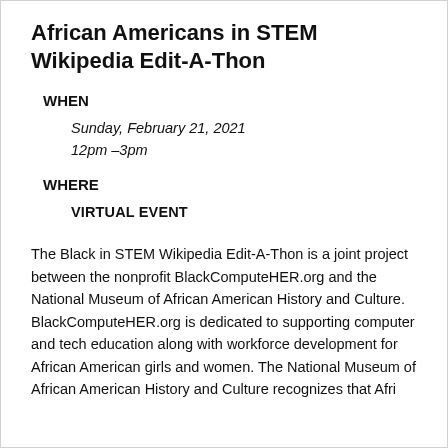African Americans in STEM Wikipedia Edit-A-Thon
WHEN
Sunday, February 21, 2021
12pm –3pm
WHERE
VIRTUAL EVENT
The Black in STEM Wikipedia Edit-A-Thon is a joint project between the nonprofit BlackComputeHER.org and the National Museum of African American History and Culture. BlackComputeHER.org is dedicated to supporting computer and tech education along with workforce development for African American girls and women. The National Museum of African American History and Culture recognizes that African...